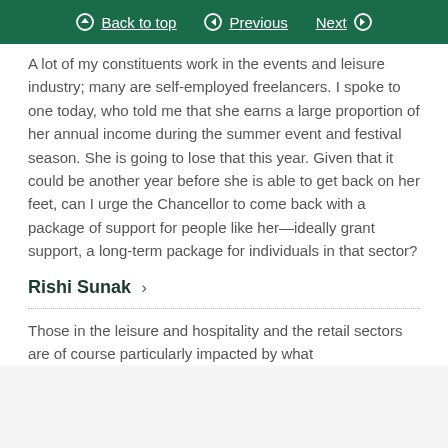Back to top | Previous | Next
A lot of my constituents work in the events and leisure industry; many are self-employed freelancers. I spoke to one today, who told me that she earns a large proportion of her annual income during the summer event and festival season. She is going to lose that this year. Given that it could be another year before she is able to get back on her feet, can I urge the Chancellor to come back with a package of support for people like her—ideally grant support, a long-term package for individuals in that sector?
Rishi Sunak >
Those in the leisure and hospitality and the retail sectors are of course particularly impacted by what